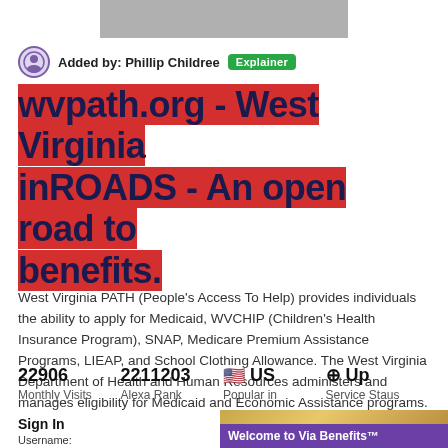[Figure (other): Gray decorative bar at top of page]
Added by: Phillip Childree  [Explainer]
wvpath.org - West Virginia inROADS - An open road to benefits.
West Virginia PATH (People's Access To Help) provides individuals the ability to apply for Medicaid, WVCHIP (Children's Health Insurance Program), SNAP, Medicare Premium Assistance Programs, LIEAP, and School Clothing Allowance. The West Virginia Department of Health and Human Resources administers and manages eligibility for Medicaid and Economic Assistance programs.
Url: https://www.wvpath.org/
| Value | Label |
| --- | --- |
| 22906 | Monthly Visits |
| 2211203 | Alexa Rank |
| 🇺🇸 US | Popular in |
| ⊕ Up | Service Staus |
Sign In
Username:
[Figure (screenshot): Screenshot panel showing 'Welcome to Via Benefits' in purple on gold/warm background]